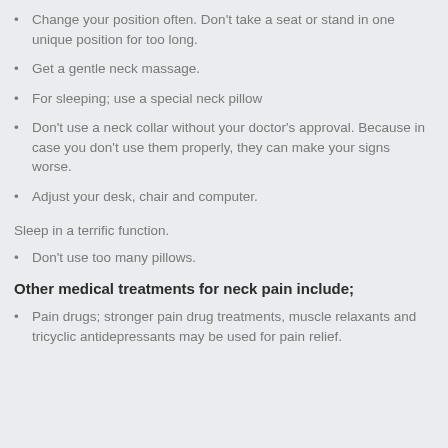Change your position often. Don't take a seat or stand in one unique position for too long.
Get a gentle neck massage.
For sleeping; use a special neck pillow
Don't use a neck collar without your doctor's approval. Because in case you don't use them properly, they can make your signs worse.
Adjust your desk, chair and computer.
Sleep in a terrific function.
Don't use too many pillows.
Other medical treatments for neck pain include;
Pain drugs; stronger pain drug treatments, muscle relaxants and tricyclic antidepressants may be used for pain relief.